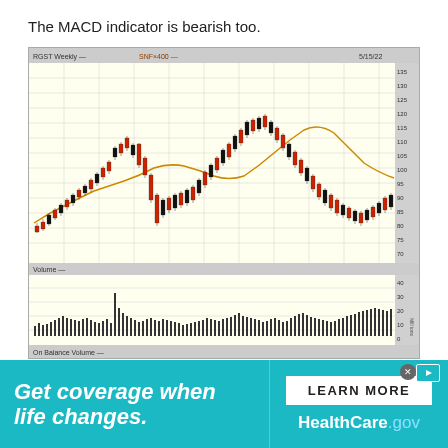The MACD indicator is bearish too.
[Figure (continuous-plot): Weekly candlestick chart of RGST with SNF×400 overlay, showing price movement from approximately 55 to 135 and back down, with a moving average line in gold/orange. Chart header shows 'RGST Weekly' and date '5/15/22'. Lower panel shows volume bars. Bottom label shows 'On Balance Volume'. Chart attributed to BigCharts.com.]
[Figure (infographic): HealthCare.gov advertisement banner with teal background. Left text: 'Get coverage when life changes.' in white italic bold. Right side: white 'LEARN MORE' button and 'HealthCare.gov' logo in white.]